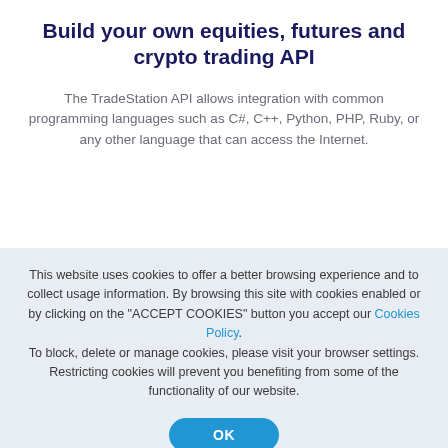Build your own equities, futures and crypto trading API
The TradeStation API allows integration with common programming languages such as C#, C++, Python, PHP, Ruby, or any other language that can access the Internet.
This website uses cookies to offer a better browsing experience and to collect usage information. By browsing this site with cookies enabled or by clicking on the "ACCEPT COOKIES" button you accept our Cookies Policy. To block, delete or manage cookies, please visit your browser settings. Restricting cookies will prevent you benefiting from some of the functionality of our website.